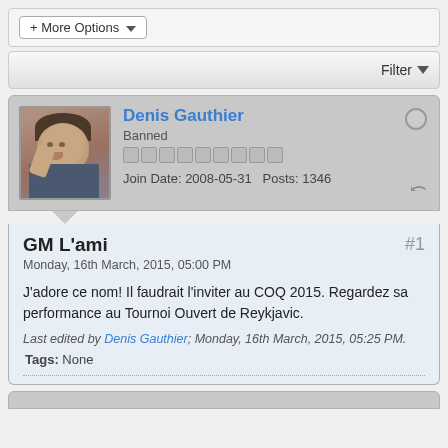+ More Options ▼
Filter ▼
Denis Gauthier
Banned
Join Date: 2008-05-31   Posts: 1346
GM L'ami
Monday, 16th March, 2015, 05:00 PM
#1
J'adore ce nom! Il faudrait l'inviter au COQ 2015. Regardez sa performance au Tournoi Ouvert de Reykjavic.
Last edited by Denis Gauthier; Monday, 16th March, 2015, 05:25 PM.
Tags: None